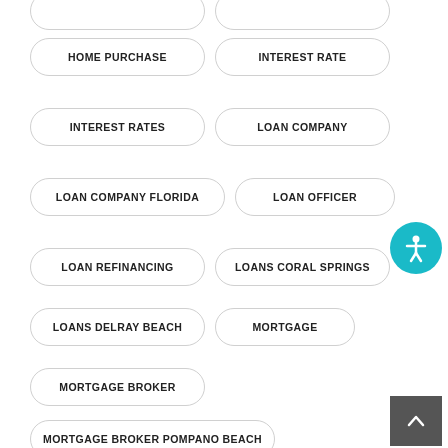HOME PURCHASE
INTEREST RATE
INTEREST RATES
LOAN COMPANY
LOAN COMPANY FLORIDA
LOAN OFFICER
LOAN REFINANCING
LOANS CORAL SPRINGS
LOANS DELRAY BEACH
MORTGAGE
MORTGAGE BROKER
MORTGAGE BROKER POMPANO BEACH
MORTGAGE COMPANIES